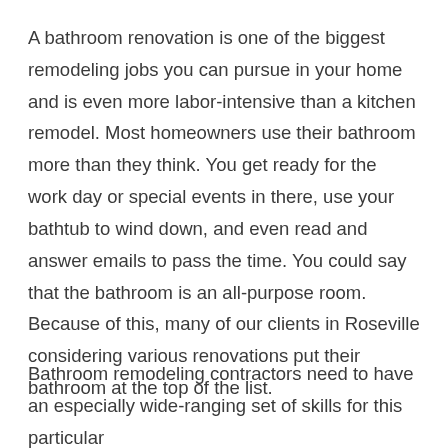A bathroom renovation is one of the biggest remodeling jobs you can pursue in your home and is even more labor-intensive than a kitchen remodel. Most homeowners use their bathroom more than they think. You get ready for the work day or special events in there, use your bathtub to wind down, and even read and answer emails to pass the time. You could say that the bathroom is an all-purpose room. Because of this, many of our clients in Roseville considering various renovations put their bathroom at the top of the list.
Bathroom remodeling contractors need to have an especially wide-ranging set of skills for this particular